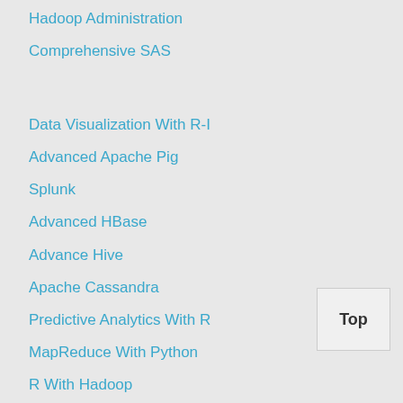Hadoop Administration
Comprehensive SAS
Data Visualization With R-I
Advanced Apache Pig
Splunk
Advanced HBase
Advance Hive
Apache Cassandra
Predictive Analytics With R
MapReduce With Python
R With Hadoop
Java Server Page